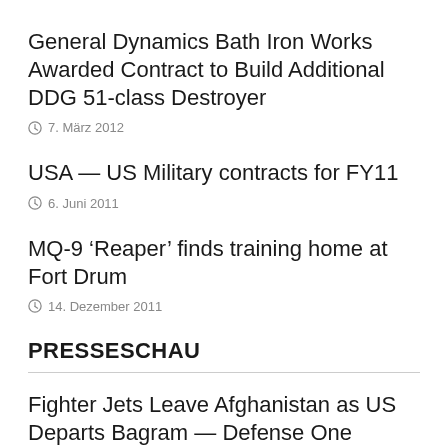General Dynamics Bath Iron Works Awarded Contract to Build Additional DDG 51-class Destroyer
7. März 2012
USA — US Military contracts for FY11
6. Juni 2011
MQ-9 ‘Reaper’ finds training home at Fort Drum
14. Dezember 2011
PRESSESCHAU
Fighter Jets Leave Afghanistan as US Departs Bagram — Defense One